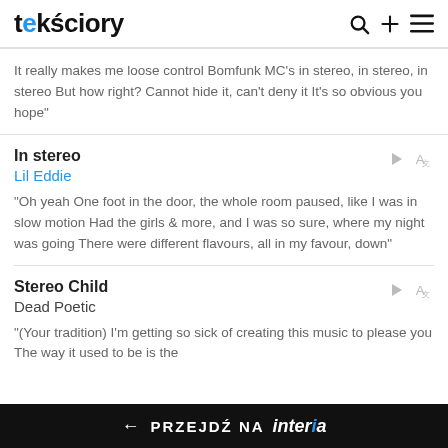tekściory
It really makes me loose control Bomfunk MC's in stereo, in stereo, in stereo But how right? Cannot hide it, can't deny it It's so obvious you hope"
In stereo
Lil Eddie
"Oh yeah One foot in the door, the whole room paused, like I was in slow motion Had the girls & more, and I was so sure, where my night was going There were different flavours, all in my favour, down"
Stereo Child
Dead Poetic
"(Your tradition) I'm getting so sick of creating this music to please you The way it used to be is the
← PRZEJDŹ NA interia